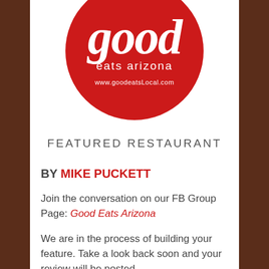[Figure (logo): Good Eats Arizona logo — red circle with 'good' in large italic serif white text, 'eats arizona' in white sans-serif below, and 'www.goodeatsLocal.com' in white at the bottom]
FEATURED RESTAURANT
BY MIKE PUCKETT
Join the conversation on our FB Group Page: Good Eats Arizona
We are in the process of building your feature. Take a look back soon and your review will be posted